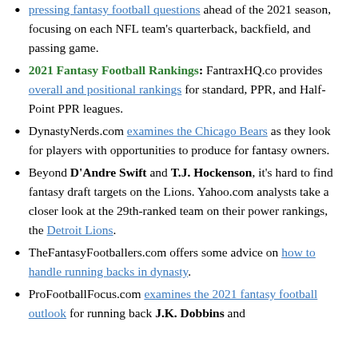pressing fantasy football questions ahead of the 2021 season, focusing on each NFL team's quarterback, backfield, and passing game.
2021 Fantasy Football Rankings: FantraxHQ.co provides overall and positional rankings for standard, PPR, and Half-Point PPR leagues.
DynastyNerds.com examines the Chicago Bears as they look for players with opportunities to produce for fantasy owners.
Beyond D'Andre Swift and T.J. Hockenson, it's hard to find fantasy draft targets on the Lions. Yahoo.com analysts take a closer look at the 29th-ranked team on their power rankings, the Detroit Lions.
TheFantasyFootballers.com offers some advice on how to handle running backs in dynasty.
ProFootballFocus.com examines the 2021 fantasy football outlook for running back J.K. Dobbins and